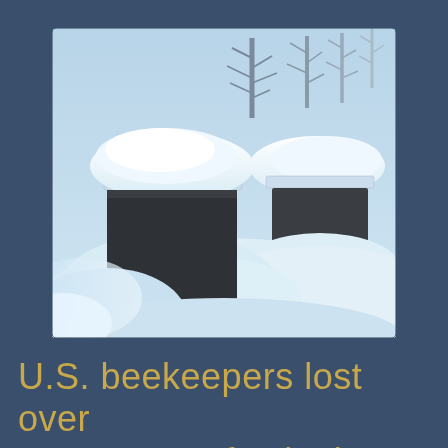[Figure (photo): Snow-covered bee hives (beekeeping boxes) buried in deep snow outdoors, with trees visible in the background. Two dark-colored hive boxes are visible with heavy snow piled on top. One has a red entrance piece visible. Winter/cold weather scene.]
U.S. beekeepers lost over 40 percent of colonies last